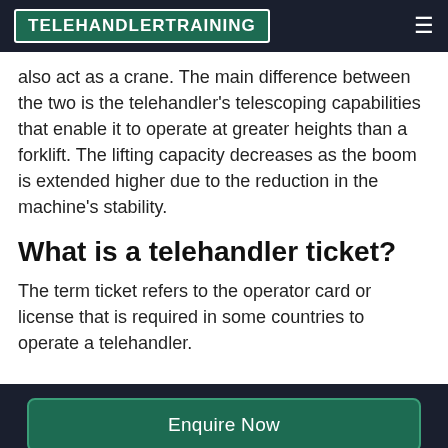TELEHANDLERTRAINING
also act as a crane. The main difference between the two is the telehandler's telescoping capabilities that enable it to operate at greater heights than a forklift. The lifting capacity decreases as the boom is extended higher due to the reduction in the machine's stability.
What is a telehandler ticket?
The term ticket refers to the operator card or license that is required in some countries to operate a telehandler.
Enquire Now